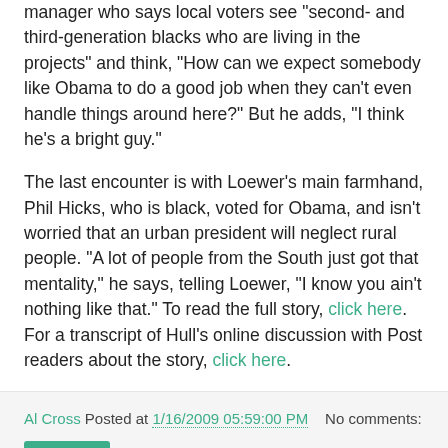manager who says local voters see "second- and third-generation blacks who are living in the projects" and think, "How can we expect somebody like Obama to do a good job when they can't even handle things around here?" But he adds, "I think he's a bright guy."
The last encounter is with Loewer's main farmhand, Phil Hicks, who is black, voted for Obama, and isn't worried that an urban president will neglect rural people. "A lot of people from the South just got that mentality," he says, telling Loewer, "I know you ain't nothing like that." To read the full story, click here. For a transcript of Hull's online discussion with Post readers about the story, click here.
Al Cross Posted at 1/16/2009 05:59:00 PM   No comments:
Share
Ag, Energy cabinet picks talk alternative energy